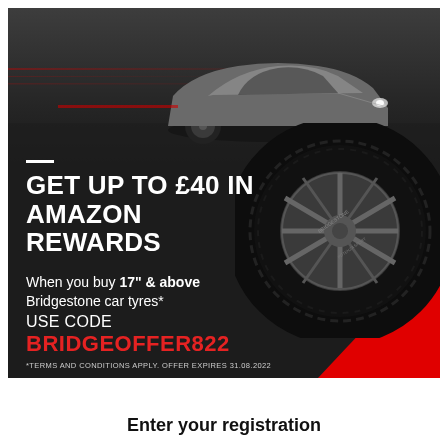[Figure (photo): Bridgestone Amazon Rewards advertisement. Dark background with a silver car driving on a road at the top. A Bridgestone performance tyre is shown on the right side. Red accent triangle in bottom-right corner. Text overlay promoting up to £40 in Amazon Rewards when buying 17" & above Bridgestone car tyres using code BRIDGEOFFER822.]
GET UP TO £40 IN AMAZON REWARDS
When you buy 17" & above Bridgestone car tyres*
USE CODE
BRIDGEOFFER822
*TERMS AND CONDITIONS APPLY. OFFER EXPIRES 31.08.2022
Enter your registration